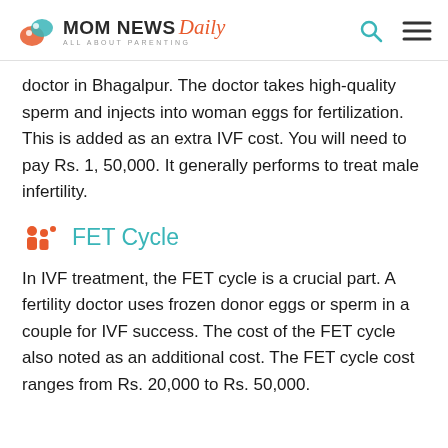MOM NEWS Daily — ALL ABOUT PARENTING
doctor in Bhagalpur. The doctor takes high-quality sperm and injects into woman eggs for fertilization. This is added as an extra IVF cost. You will need to pay Rs. 1, 50,000. It generally performs to treat male infertility.
FET Cycle
In IVF treatment, the FET cycle is a crucial part. A fertility doctor uses frozen donor eggs or sperm in a couple for IVF success. The cost of the FET cycle also noted as an additional cost. The FET cycle cost ranges from Rs. 20,000 to Rs. 50,000.